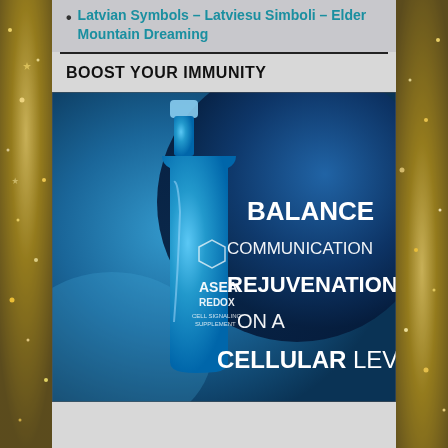Latvian Symbols – Latviesu Simboli – Elder Mountain Dreaming
BOOST YOUR IMMUNITY
[Figure (photo): ASEA REDOX Cell Signaling Supplement blue bottle on a blue background with text: BALANCE, COMMUNICATION, REJUVENATION, ON A, CELLULAR LEVEL]